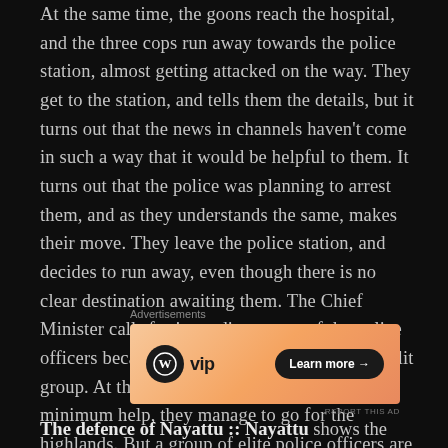At the same time, the goons reach the hospital, and the three cops run away towards the police station, almost getting attacked on the way. They get to the station, and tells them the details, but it turns out that the news in channels haven't come in such a way that it would be helpful to them. It turns out that the police was planning to arrest them, and as they understands the same, makes their move. They leave the police station, and decides to run away, even though there is no clear destination awaiting them. The Chief Minister calls for immediate arrest of the police officers because he needs the support of the Dalit group. At the same time, even though left with minimum help, they manage to go for the highlands. But a group of elite police officers are searching for them, and time is surely running out.
Advertisements
[Figure (other): WordPress VIP advertisement banner with orange gradient background, WordPress logo on left, and 'Learn more →' button on right]
The defence of Nayattu :: Nayattu shows the strength of a